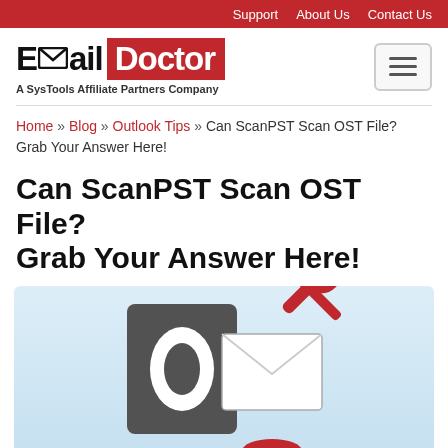Support   About Us   Contact Us
[Figure (logo): Email Doctor logo — envelope icon between 'E' and 'ail', 'Doctor' in white text on red background, tagline: A SysTools Affiliate Partners Company]
Home » Blog » Outlook Tips » Can ScanPST Scan OST File? Grab Your Answer Here!
Can ScanPST Scan OST File? Grab Your Answer Here!
[Figure (illustration): Light blue background illustration showing a dark gray Microsoft Outlook icon (square with 'O') next to an envelope icon, with a red wrench-and-screwdriver tools icon overlaid at top right, and a red element at the bottom.]